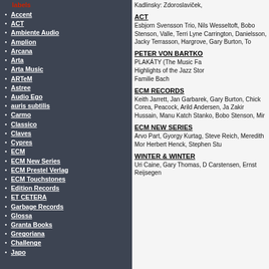labels
Accent
ACT
Ambiente Audio
Amplion
Arcana
Arta
Arta Music
ARTeM
Astree
Audio Ego
auris subtilis
Carmo
Classico
Claves
Cypres
ECM
ECM New Series
ECM Prestel Verlag
ECM Touchstones
Edition Records
ET CETERA
Garbage Records
Glossa
Granta Books
Gregoriana
Challenge
Japo
Kadlinsky: Zdoroslaviček,
ACT
Esbjorn Svensson Trio, Nils Wesseltoft, Bobo Stenson, Valle, Terri Lyne Carrington, Danielsson, Jacky Terrasson, Hargrove, Gary Burton, To
PETER VON BARTKO
PLAKÁTY (The Music Fa
Highlights of the Jazz Stor
Familie Bach
ECM RECORDS
Keith Jarrett, Jan Garbarek, Gary Burton, Chick Corea, Peacock, Arild Andersen, Ja Zakir Hussain, Manu Katch Stanko, Bobo Stenson, Mir
ECM NEW SERIES
Arvo Part, Gyorgy Kurtag, Steve Reich, Meredith Mor Herbert Henck, Stephen Stu
WINTER & WINTER
Uri Caine, Gary Thomas, D Carstensen, Ernst Reijsegen